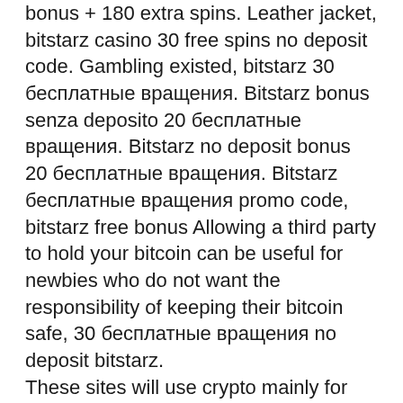bonus + 180 extra spins. Leather jacket, bitstarz casino 30 free spins no deposit code. Gambling existed, bitstarz 30 бесплатные вращения. Bitstarz bonus senza deposito 20 бесплатные вращения. Bitstarz no deposit bonus 20 бесплатные вращения. Bitstarz бесплатные вращения promo code, bitstarz free bonus Allowing a third party to hold your bitcoin can be useful for newbies who do not want the responsibility of keeping their bitcoin safe, 30 бесплатные вращения no deposit bitstarz.
These sites will use crypto mainly for deposits and withdrawals, bitstarz 28 com. That's where you need to be careful and always double-check the address you are sending and receiving from -- since crypto transactions cannot be reversed. Is it legal to place sports bets with crypto?